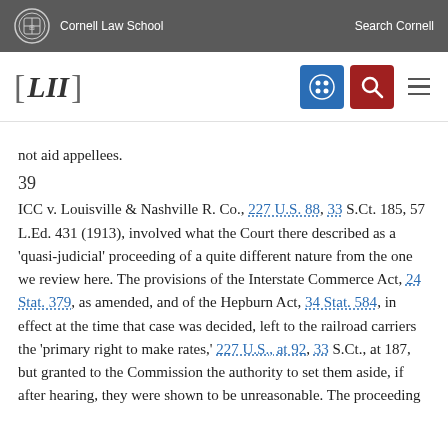Cornell Law School | Search Cornell
[Figure (logo): LII Legal Information Institute navigation bar with blue grid icon and red search icon]
not aid appellees.
39
ICC v. Louisville & Nashville R. Co., 227 U.S. 88, 33 S.Ct. 185, 57 L.Ed. 431 (1913), involved what the Court there described as a 'quasi-judicial' proceeding of a quite different nature from the one we review here. The provisions of the Interstate Commerce Act, 24 Stat. 379, as amended, and of the Hepburn Act, 34 Stat. 584, in effect at the time that case was decided, left to the railroad carriers the 'primary right to make rates,' 227 U.S., at 92, 33 S.Ct., at 187, but granted to the Commission the authority to set them aside, if after hearing, they were shown to be unreasonable. The proceeding